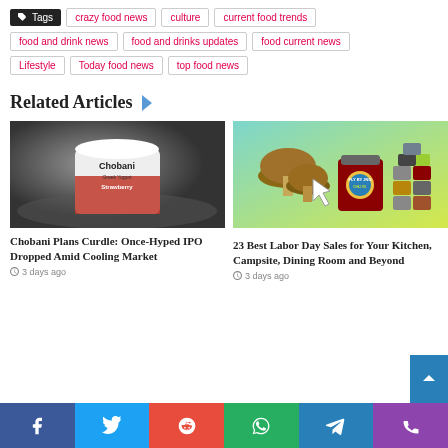Tags  crazy food news  culture  current food trends
food and drink news  food and drinks updates  food current news
Lifestyle  Today food news  top food news
Related Articles
[Figure (photo): Chobani Greek Yogurt Strawberry cup on a table]
Chobani Plans Curdle: Once-Hyped IPO Dropped Amid Cooling Market
3 days ago
[Figure (photo): Various food jars and stacked cans on a teal/yellow gradient background with a cursor icon]
23 Best Labor Day Sales for Your Kitchen, Campsite, Dining Room and Beyond
3 days ago